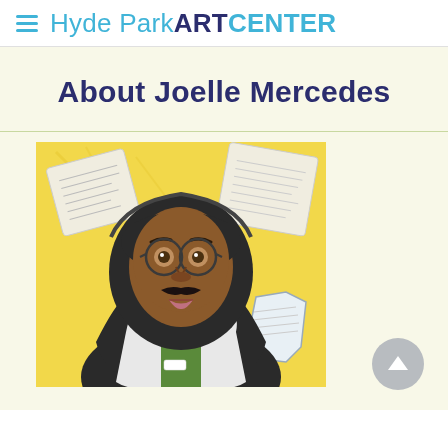Hyde Park ART CENTER
About Joelle Mercedes
[Figure (illustration): Crayon drawing of a person with dark hair in a hoodie, wearing round glasses and a green vest, set against a yellow background. Floating papers with handwriting are visible in the upper corners. A tooth or bone shape appears lower right.]